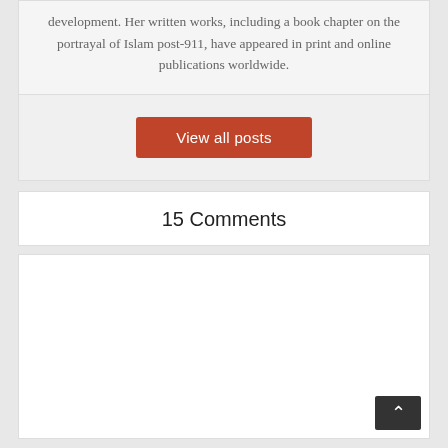development. Her written works, including a book chapter on the portrayal of Islam post-911, have appeared in print and online publications worldwide.
View all posts
15 Comments
[Figure (screenshot): Empty white comment box area with a dark back-to-top button (chevron up) in the bottom right corner]